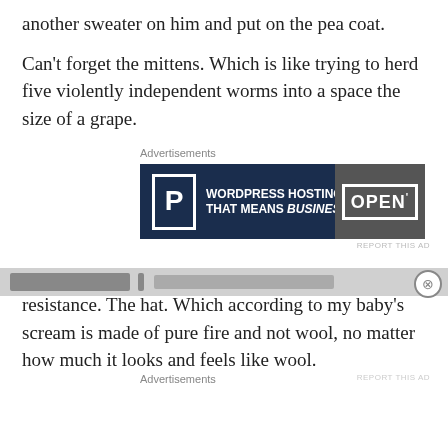another sweater on him and put on the pea coat.
Can't forget the mittens. Which is like trying to herd five violently independent worms into a space the size of a grape.
[Figure (other): Advertisement banner for WordPress Hosting featuring a P logo and an OPEN sign image with text: WORDPRESS HOSTING THAT MEANS BUSINESS.]
And then…the piece de resistance. The piece very resistance. The hat. Which according to my baby's scream is made of pure fire and not wool, no matter how much it looks and feels like wool.
[Figure (other): Bottom advertisement bar with close button and Advertisements label]